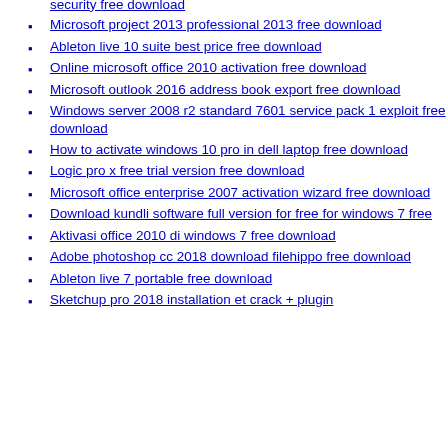download
Windows server 2012 essentials internet explorer enhanced security free download
Microsoft project 2013 professional 2013 free download
Ableton live 10 suite best price free download
Online microsoft office 2010 activation free download
Microsoft outlook 2016 address book export free download
Windows server 2008 r2 standard 7601 service pack 1 exploit free download
How to activate windows 10 pro in dell laptop free download
Logic pro x free trial version free download
Microsoft office enterprise 2007 activation wizard free download
Download kundli software full version for free for windows 7 free
Aktivasi office 2010 di windows 7 free download
Adobe photoshop cc 2018 download filehippo free download
Ableton live 7 portable free download
Sketchup pro 2018 installation et crack + plugin